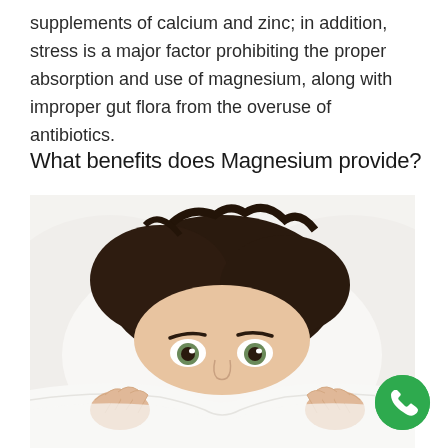supplements of calcium and zinc; in addition, stress is a major factor prohibiting the proper absorption and use of magnesium, along with improper gut flora from the overuse of antibiotics.
What benefits does Magnesium provide?
[Figure (photo): A person peering over a white blanket/pillow with wide eyes, lying in bed. Only the top of the head and eyes are visible above the white bedding, with dark hair visible. Hands grip the edge of the blanket on both sides.]
[Figure (logo): Green circular phone/call button with white phone handset icon, positioned in bottom right corner.]